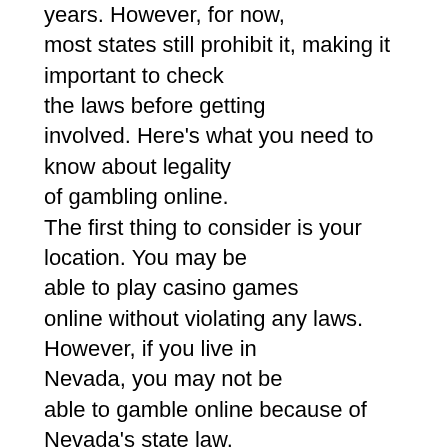years. However, for now, most states still prohibit it, making it important to check the laws before getting involved. Here's what you need to know about legality of gambling online. The first thing to consider is your location. You may be able to play casino games online without violating any laws. However, if you live in Nevada, you may not be able to gamble online because of Nevada's state law. This is a major flaw in Nevada law, as there are hundreds of licensed casinos in the state. As such, you must choose a site that does not operate in Nevada. Moreover, it is important to consider your own preferences and your own country's laws before engaging in online gambling.